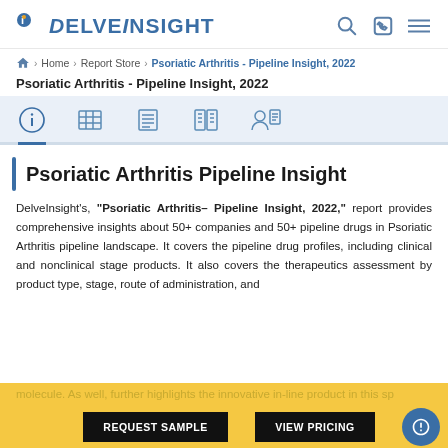[Figure (logo): DelveInsight logo with stylized D and i icon in blue]
Home › Report Store › Psoriatic Arthritis - Pipeline Insight, 2022
Psoriatic Arthritis - Pipeline Insight, 2022
[Figure (infographic): Tab bar with five icons: info, table, list, columns, person-document on light blue background]
Psoriatic Arthritis Pipeline Insight
DelveInsight's, "Psoriatic Arthritis– Pipeline Insight, 2022," report provides comprehensive insights about 50+ companies and 50+ pipeline drugs in Psoriatic Arthritis pipeline landscape. It covers the pipeline drug profiles, including clinical and nonclinical stage products. It also covers the therapeutics assessment by product type, stage, route of administration, and molecule. As well, further highlights the innovative in-line products in this space.
REQUEST SAMPLE    VIEW PRICING